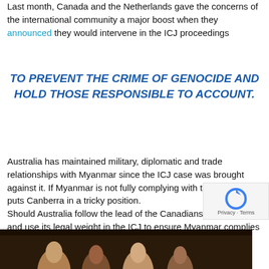Last month, Canada and the Netherlands gave the concerns of the international community a major boost when they announced they would intervene in the ICJ proceedings
TO PREVENT THE CRIME OF GENOCIDE AND HOLD THOSE RESPONSIBLE TO ACCOUNT.
Australia has maintained military, diplomatic and trade relationships with Myanmar since the ICJ case was brought against it. If Myanmar is not fully complying with the order, this puts Canberra in a tricky position.
Should Australia follow the lead of the Canadians and Dutch and use its legal weight in the ICJ to ensure Myanmar complies with its obligations under international law?
[Figure (photo): Photograph of people, appears to be a group scene with figures visible from the torso up against a dark brown background]